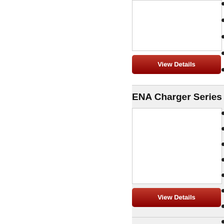[Figure (other): Product image placeholder (white box with border)]
[Figure (other): View Details button - red gradient button]
ENA Charger Series
[Figure (other): Product image placeholder (white box with border) for ENA Charger Series]
[Figure (other): View Details button - red gradient button for ENA Charger Series]
ENA200 Series